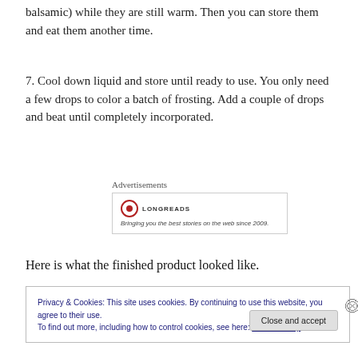balsamic) while they are still warm. Then you can store them and eat them another time.
7. Cool down liquid and store until ready to use. You only need a few drops to color a batch of frosting. Add a couple of drops and beat until completely incorporated.
[Figure (other): Advertisements section with Longreads logo and tagline: Bringing you the best stories on the web since 2009.]
Here is what the finished product looked like.
Privacy & Cookies: This site uses cookies. By continuing to use this website, you agree to their use.
To find out more, including how to control cookies, see here: Cookie Policy